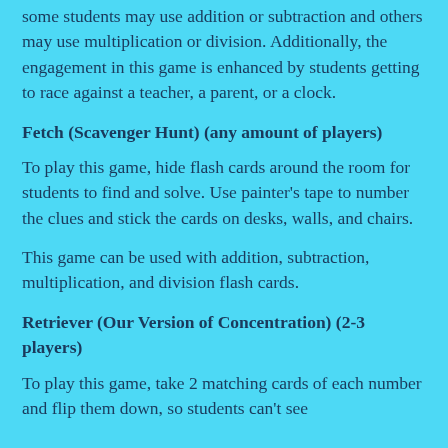some students may use addition or subtraction and others may use multiplication or division. Additionally, the engagement in this game is enhanced by students getting to race against a teacher, a parent, or a clock.
Fetch (Scavenger Hunt) (any amount of players)
To play this game, hide flash cards around the room for students to find and solve. Use painter’s tape to number the clues and stick the cards on desks, walls, and chairs.
This game can be used with addition, subtraction, multiplication, and division flash cards.
Retriever (Our Version of Concentration) (2-3 players)
To play this game, take 2 matching cards of each number and flip them down, so students can't see